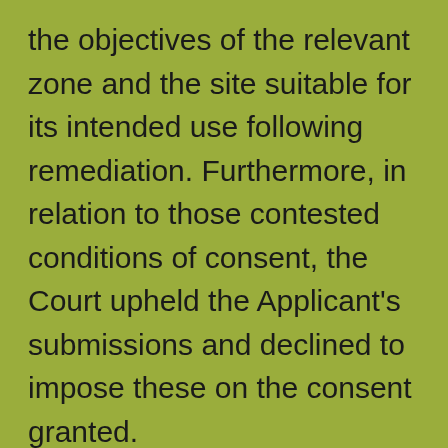the objectives of the relevant zone and the site suitable for its intended use following remediation. Furthermore, in relation to those contested conditions of consent, the Court upheld the Applicant's submissions and declined to impose these on the consent granted.
The Court's decision in this case can be viewed here.